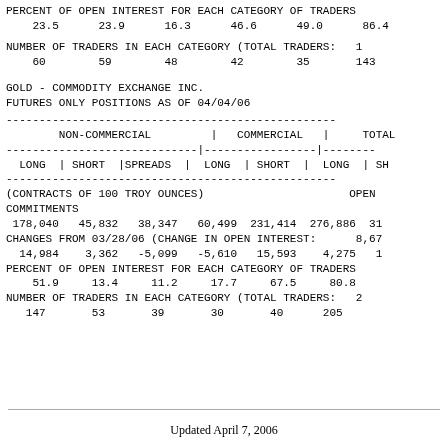PERCENT OF OPEN INTEREST FOR EACH CATEGORY OF TRADERS
    23.5      23.9      16.3      46.6      49.0      86.4
NUMBER OF TRADERS IN EACH CATEGORY (TOTAL TRADERS:  1
    60        59        48        42        35       143
GOLD - COMMODITY EXCHANGE INC.
FUTURES ONLY POSITIONS AS OF 04/04/06
| NON-COMMERCIAL | COMMERCIAL | TOTAL |
| --- | --- | --- |
| LONG | SHORT |SPREADS | | LONG | SHORT | | LONG | SH |
| (CONTRACTS OF 100 TROY OUNCES) |  | OPEN |
| COMMITMENTS |  |  |
| 178,040  45,832  38,347 | 60,499  231,414 | 276,886  31 |
| CHANGES FROM 03/28/06 (CHANGE IN OPEN INTEREST: |  | 8,67 |
| 14,984   3,362   -5,099 | -5,610   15,593 | 4,275  1 |
| PERCENT OF OPEN INTEREST FOR EACH CATEGORY OF TRADERS |  |  |
| 51.9     13.4     11.2 | 17.7     67.5 | 80.8 |
| NUMBER OF TRADERS IN EACH CATEGORY (TOTAL TRADERS: |  | 2 |
| 147      53       39 | 30       40 | 205 |
Updated April 7, 2006